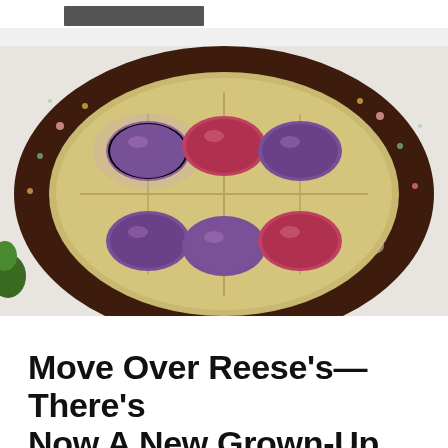[Figure (photo): An oval-shaped Easter egg gift box with a decorative dark brown floral/botanical patterned border lid, containing six egg-shaped chocolates arranged in gold-colored oval cups — alternating red/pink and purple/mauve colored chocolate eggs, photographed from above on a white background.]
Move Over Reese's—There's Now A New Grown-Up